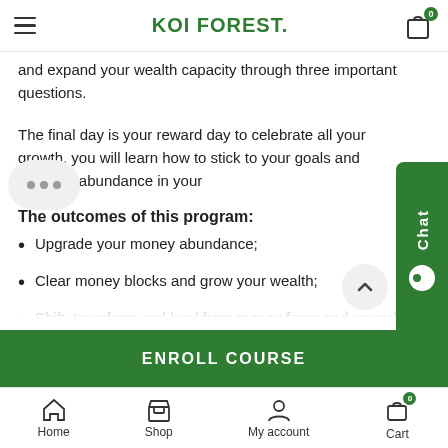KOI FOREST.
and expand your wealth capacity through three important questions.
The final day is your reward day to celebrate all your growth, you will learn how to stick to your goals and manifest abundance in your
The outcomes of this program:
Upgrade your money abundance;
Clear money blocks and grow your wealth;
Shift, transform and heal from money fears and wounds;
Understand your type(s) of money beliefs and your effective
ENROLL COURSE
Home  Shop  My account  Cart